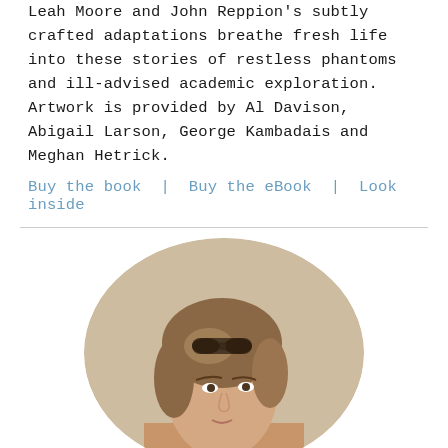Leah Moore and John Reppion's subtly crafted adaptations breathe fresh life into these stories of restless phantoms and ill-advised academic exploration. Artwork is provided by Al Davison, Abigail Larson, George Kambadais and Meghan Hetrick.
Buy the book | Buy the eBook | Look inside
[Figure (photo): Circular cropped portrait photo of a woman with sunglasses on her head, light brown hair, looking to the side. Warm indoor background.]